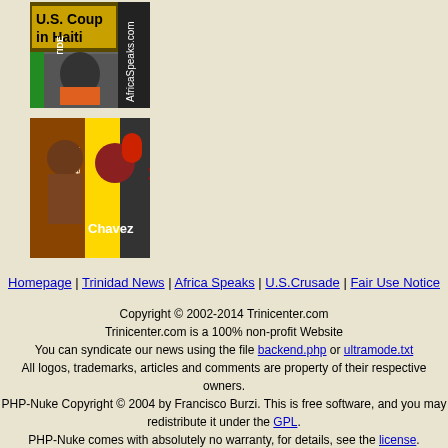[Figure (illustration): U.S. Coup in Haiti banner with Aristide photo, AfricaSpeaks.com text rotated vertically]
[Figure (illustration): Venezuela Chavez banner with Trinicenter.com text rotated vertically]
Homepage | Trinidad News | Africa Speaks | U.S.Crusade | Fair Use Notice
Copyright © 2002-2014 Trinicenter.com
Trinicenter.com is a 100% non-profit Website
You can syndicate our news using the file backend.php or ultramode.txt
All logos, trademarks, articles and comments are property of their respective owners.
PHP-Nuke Copyright © 2004 by Francisco Burzi. This is free software, and you may redistribute it under the GPL.
PHP-Nuke comes with absolutely no warranty, for details, see the license.
Page Generation: 0.31 Seconds